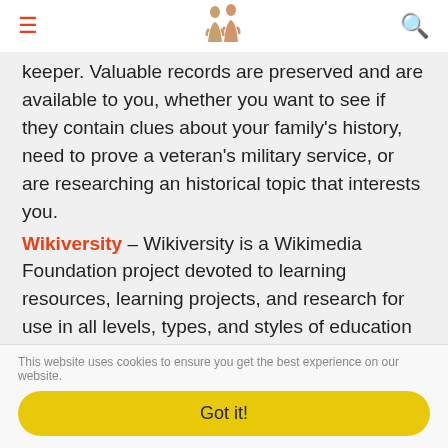keeper. Valuable records are preserved and are available to you, whether you want to see if they contain clues about your family's history, need to prove a veteran's military service, or are researching an historical topic that interests you.
Wikiversity – Wikiversity is a Wikimedia Foundation project devoted to learning resources, learning projects, and research for use in all levels, types, and styles of education from pre-school to university, including professional training and informal learning.
UMass Boston OpenCourseWare – Various online classes provided free by UMass Boston.
This website uses cookies to ensure you get the best experience on our website.
Got it!